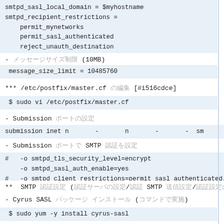smtpd_sasl_local_domain = $myhostname
smtpd_recipient_restrictions =
    permit_mynetworks
    permit_sasl_authenticated
    reject_unauth_destination
- メッセージサイズ制限 (10MB)
message_size_limit = 10485760
*** /etc/postfix/master.cf の編集 [#i516cdce]
$ sudo vi /etc/postfix/master.cf
- Submission ポートの設定
submission inet n       -       n       -       -  sm
- Submission ポートで SMTP 認証を設定
#   -o smtpd_tls_security_level=encrypt
    -o smtpd_sasl_auth_enable=yes
#   -o smtpd_client_restrictions=permit_sasl_authenticated,
**  SMTP 認証設定 (認証サーバの設定/認証 SMTP 送信設定/認証設定の確認) [#p0d4a
- Cyrus SASL パッケージ インストール (コマンドで実施)
$ sudo yum -y install cyrus-sasl